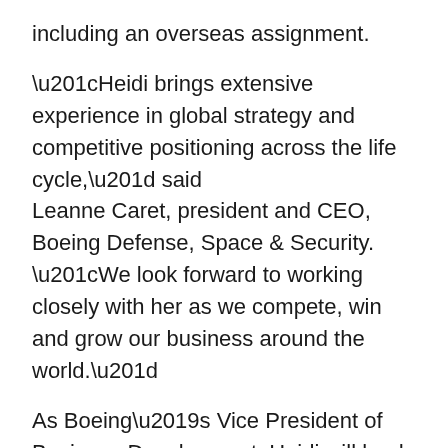including an overseas assignment.
“Heidi brings extensive experience in global strategy and competitive positioning across the life cycle,” said Leanne Caret, president and CEO, Boeing Defense, Space & Security. “We look forward to working closely with her as we compete, win and grow our business around the world.”
As Boeing’s Vice President of Business Development, Heidi will lead Boeing’s defense, space and government services sales teams.
Heidi will report to Caret and Ted Colbert, Boeing